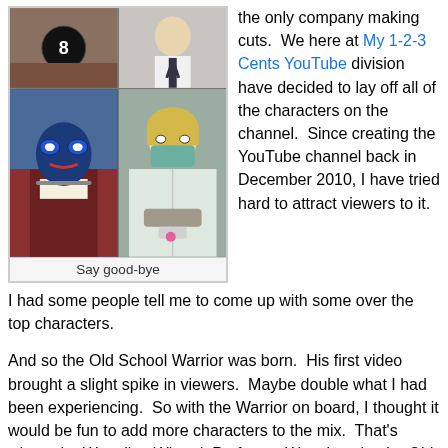[Figure (photo): A 2x2 grid of four photos showing costumed/character people including someone in a wrestling mask and someone in a lab coat with a surgical mask]
Say good-bye
the only company making cuts.  We here at My 1-2-3 Cents YouTube division have decided to lay off all of the characters on the channel.  Since creating the YouTube channel back in December 2010, I have tried hard to attract viewers to it.  I had some people tell me to come up with some over the top characters.
And so the Old School Warrior was born.  His first video brought a slight spike in viewers.  Maybe double what I had been experiencing.  So with the Warrior on board, I thought it would be fun to add more characters to the mix.  That's where the Wrestling Wizard, Professor Wrestlestein, the Old, Old School Warrior, Warrior's Mama, and Dr. Dropkick all